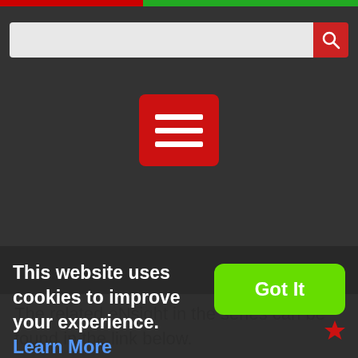[Figure (screenshot): Website header with dark background, search bar, and red hamburger menu button]
The related eNsight in the series can be found in the link below.
RELATED ENSIGHT:
This website uses cookies to improve your experience. Learn More
[Figure (other): Got It button (green) for cookie consent]